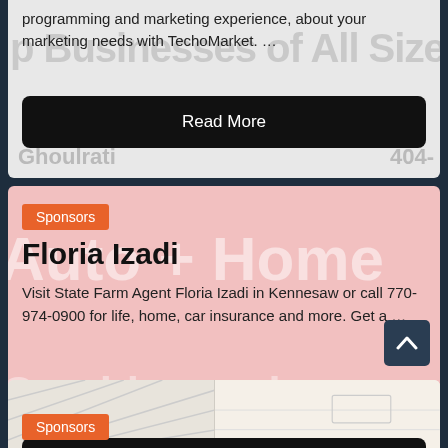programming and marketing experience, about your marketing needs with TechoMarket. …
Read More
Sponsors
Floria Izadi
Visit State Farm Agent Floria Izadi in Kennesaw or call 770-974-0900 for life, home, car insurance and more. Get a …
Read More
Sponsors